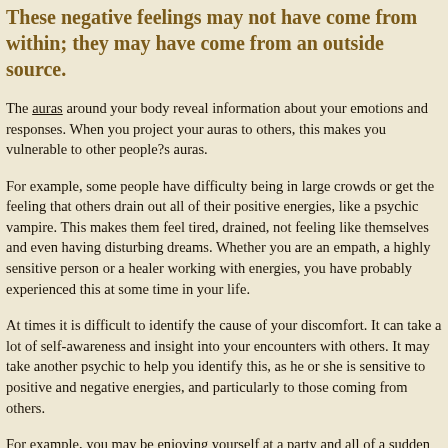These negative feelings may not have come from within; they may have come from an outside source.
The auras around your body reveal information about your emotions and responses. When you project your auras to others, this makes you vulnerable to other people?s auras.
For example, some people have difficulty being in large crowds or get the feeling that others drain out all of their positive energies, like a psychic vampire. This makes them feel tired, drained, not feeling like themselves and even having disturbing dreams. Whether you are an empath, a highly sensitive person or a healer working with energies, you have probably experienced this at some time in your life.
At times it is difficult to identify the cause of your discomfort. It can take a lot of self-awareness and insight into your encounters with others. It may take another psychic to help you identify this, as he or she is sensitive to positive and negative energies, and particularly to those coming from others.
For example, you may be enjoying yourself at a party and all of a sudden you feel a downward spiral and anxiety. You feel overwhelmed, want to get out and do not understand what is happening to yourself. These feelings might be caused by another individual at the party who is projecting negative energy or a lot of sadness due to either his/her own bad memories about the holidays or a past tragedy or death that occurred during this time of year. This would be an instance where you need to implement psychic protection techniques. If this situation has happened before,